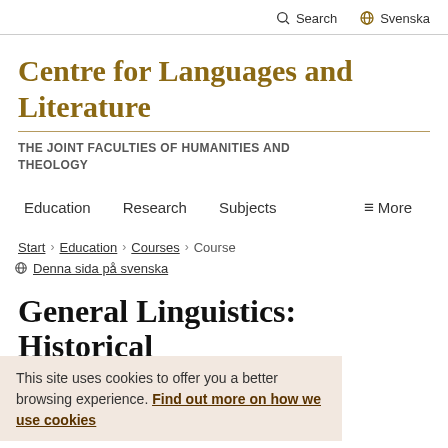Search  Svenska
Centre for Languages and Literature
THE JOINT FACULTIES OF HUMANITIES AND THEOLOGY
Education  Research  Subjects  More
Start › Education › Courses › Course
Denna sida på svenska
General Linguistics: Historical Linguistics
This site uses cookies to offer you a better browsing experience. Find out more on how we use cookies